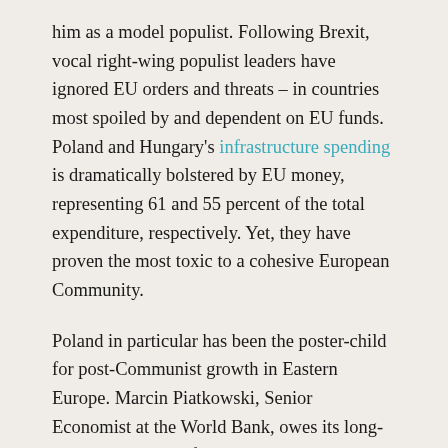him as a model populist. Following Brexit, vocal right-wing populist leaders have ignored EU orders and threats – in countries most spoiled by and dependent on EU funds. Poland and Hungary's infrastructure spending is dramatically bolstered by EU money, representing 61 and 55 percent of the total expenditure, respectively. Yet, they have proven the most toxic to a cohesive European Community.
Poland in particular has been the poster-child for post-Communist growth in Eastern Europe. Marcin Piatkowski, Senior Economist at the World Bank, owes its long-term economic performance in part to air-tight integration into the western liberal order, through adherence to the rule of law, competition, institutional development, and market-oriented reforms. Accompanying strong GDP growth is a steady decline in inequality. The EU deserves a chunk of the credit: 9